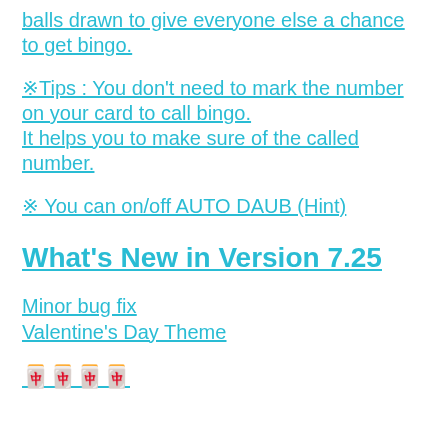balls drawn to give everyone else a chance to get bingo.
※Tips : You don't need to mark the number on your card to call bingo.
It helps you to make sure of the called number.
※ You can on/off AUTO DAUB (Hint)
What's New in Version 7.25
Minor bug fix
Valentine's Day Theme
🀄🀄🀄🀄